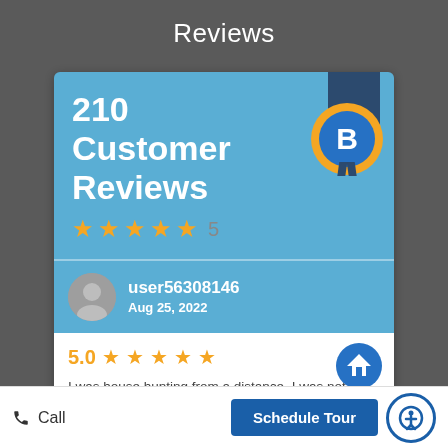Reviews
[Figure (infographic): Review summary card showing 210 Customer Reviews with 5-star rating, badge/ribbon icon, and a user review from user56308146 dated Aug 25, 2022 with 5.0 rating and review text about house hunting.]
user56308146
Aug 25, 2022
5.0 ★★★★★
I was house hunting from a distance. I was not always able to drive the 70-miles to look at places, drive neighborhoods, etc. A... more
Call   Schedule Tour